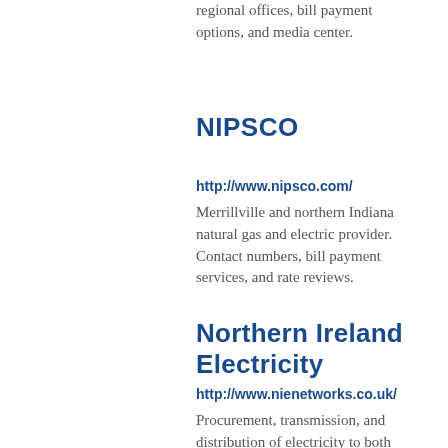regional offices, bill payment options, and media center.
NIPSCO
http://www.nipsco.com/
Merrillville and northern Indiana natural gas and electric provider. Contact numbers, bill payment services, and rate reviews.
Northern Ireland Electricity
http://www.nienetworks.co.uk/
Procurement, transmission, and distribution of electricity to both domestic and business users. Communities, news, and customer